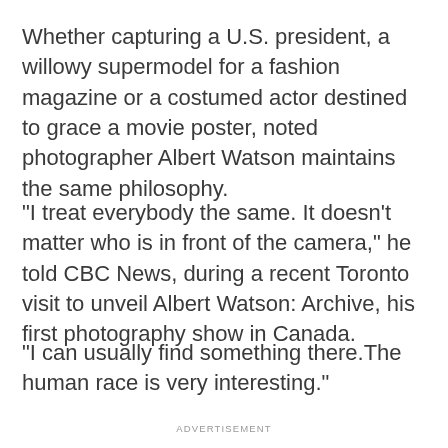Whether capturing a U.S. president, a willowy supermodel for a fashion magazine or a costumed actor destined to grace a movie poster, noted photographer Albert Watson maintains the same philosophy.
"I treat everybody the same. It doesn't matter who is in front of the camera," he told CBC News, during a recent Toronto visit to unveil Albert Watson: Archive, his first photography show in Canada.
"I can usually find something there.The human race is very interesting."
ADVERTISEMENT